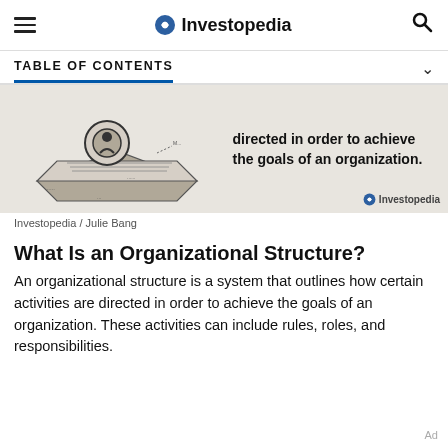Investopedia
TABLE OF CONTENTS
[Figure (illustration): Investopedia banner image showing an illustration of an organizational structure concept with text: 'directed in order to achieve the goals of an organization.' with Investopedia logo]
Investopedia / Julie Bang
What Is an Organizational Structure?
An organizational structure is a system that outlines how certain activities are directed in order to achieve the goals of an organization. These activities can include rules, roles, and responsibilities.